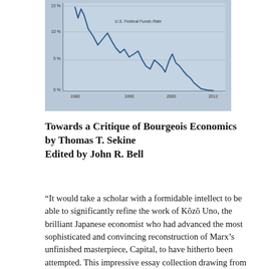[Figure (continuous-plot): Line chart showing U.S. Federal Funds Rate from approximately 1980 to 2012, displaying a declining trend from a peak around 15% in the early 1980s down to near 0% by 2012. The chart has a blue-grey shaded background.]
Towards a Critique of Bourgeois Economics
by Thomas T. Sekine
Edited by John R. Bell
“It would take a scholar with a formidable intellect to be able to significantly refine the work of Kôzô Uno, the brilliant Japanese economist who had advanced the most sophisticated and convincing reconstruction of Marx’s unfinished masterpiece, Capital, to have hitherto been attempted. This impressive essay collection drawing from Thomas Sekine’s work from the 1970s